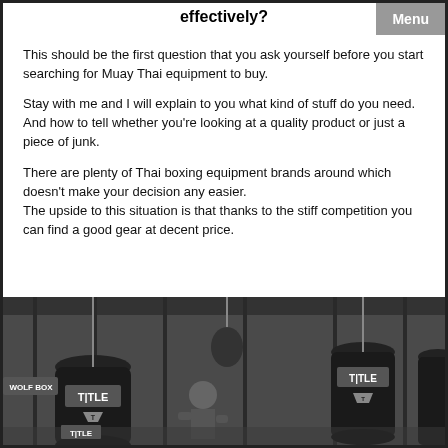effectively?
Menu
This should be the first question that you ask yourself before you start searching for Muay Thai equipment to buy.
Stay with me and I will explain to you what kind of stuff do you need. And how to tell whether you're looking at a quality product or just a piece of junk.
There are plenty of Thai boxing equipment brands around which doesn't make your decision any easier.
The upside to this situation is that thanks to the stiff competition you can find a good gear at decent price.
[Figure (photo): Grayscale photo of a boxing gym interior with heavy bags branded 'TITLE' hanging from the ceiling, and a boxer visible in the background]